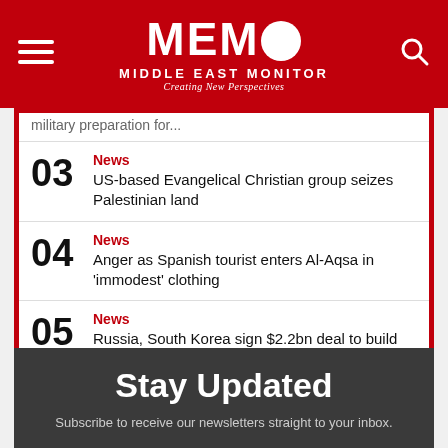MEMO MIDDLE EAST MONITOR Creating New Perspectives
Military preparation for...
03 News US-based Evangelical Christian group seizes Palestinian land
04 News Anger as Spanish tourist enters Al-Aqsa in 'immodest' clothing
05 News Russia, South Korea sign $2.2bn deal to build Egypt's...
Stay Updated
Subscribe to receive our newsletters straight to your inbox.